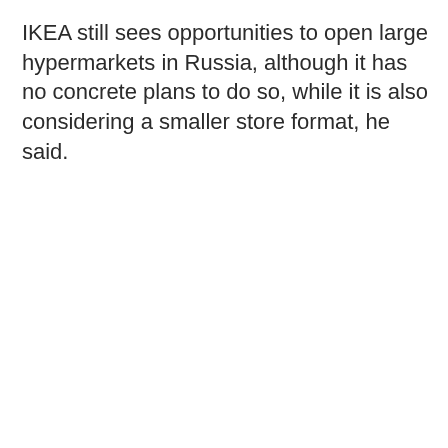IKEA still sees opportunities to open large hypermarkets in Russia, although it has no concrete plans to do so, while it is also considering a smaller store format, he said.